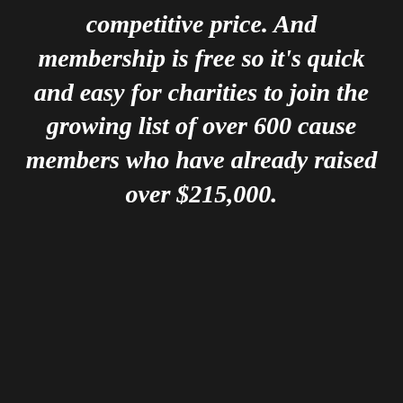competitive price. And membership is free so it's quick and easy for charities to join the growing list of over 600 cause members who have already raised over $215,000.